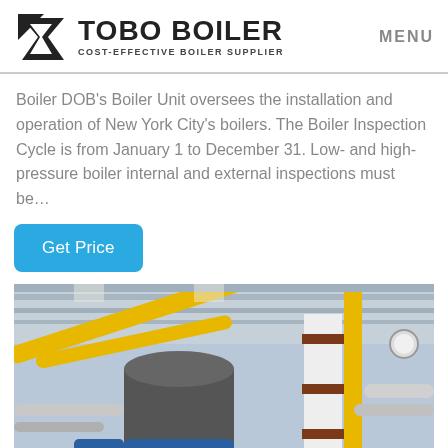TOBO BOILER — COST-EFFECTIVE BOILER SUPPLIER | MENU
Boiler DOB's Boiler Unit oversees the installation and operation of New York City's boilers. The Boiler Inspection Cycle is from January 1 to December 31. Low- and high-pressure boiler internal and external inspections must be…
Get Price
[Figure (photo): Industrial boiler room interior showing yellow pipes, white structural columns with brown trim, a large cylindrical gray boiler unit, and various mechanical piping and equipment.]